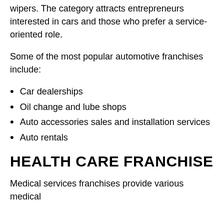wipers. The category attracts entrepreneurs interested in cars and those who prefer a service-oriented role.
Some of the most popular automotive franchises include:
Car dealerships
Oil change and lube shops
Auto accessories sales and installation services
Auto rentals
HEALTH CARE FRANCHISE
Medical services franchises provide various medical